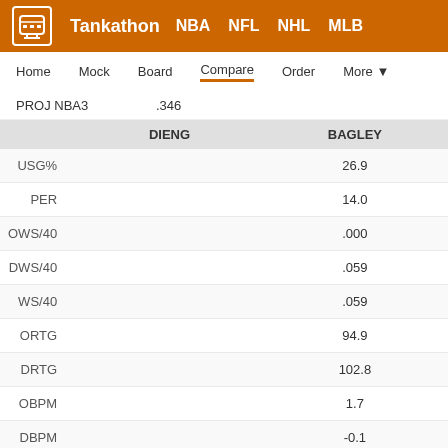Tankathon NBA NFL NHL MLB
Home Mock Board Compare Order More
PROJ NBA3 .346
|  | DIENG | BAGLEY |
| --- | --- | --- |
| USG% |  | 26.9 |
| PER |  | 14.0 |
| OWS/40 |  | .000 |
| DWS/40 |  | .059 |
| WS/40 |  | .059 |
| ORTG |  | 94.9 |
| DRTG |  | 102.8 |
| OBPM |  | 1.7 |
| DBPM |  | -0.1 |
| BPM |  | 1.6 |